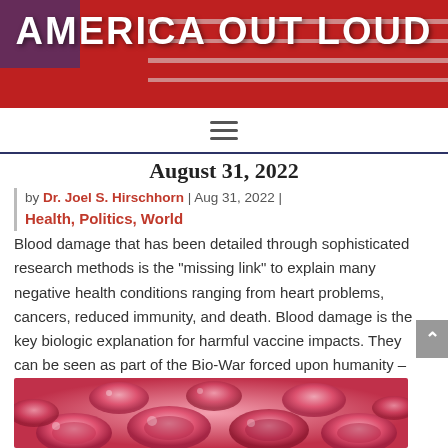AMERICA OUT LOUD
August 31, 2022
by Dr. Joel S. Hirschhorn | Aug 31, 2022 | Health, Politics, World
Blood damage that has been detailed through sophisticated research methods is the "missing link" to explain many negative health conditions ranging from heart problems, cancers, reduced immunity, and death. Blood damage is the key biologic explanation for harmful vaccine impacts. They can be seen as part of the Bio-War forced upon humanity – a true crime against humanity...
[Figure (photo): Close-up image of red blood cells, pink and red tones]